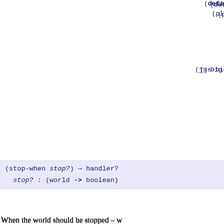When the world should be stopped – w then the js-big-bang terminates.
The program:
counts up to ten and then stops.